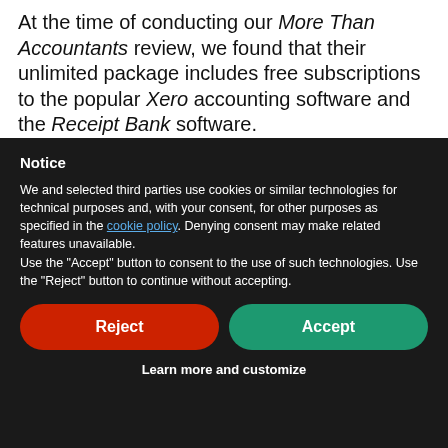At the time of conducting our More Than Accountants review, we found that their unlimited package includes free subscriptions to the popular Xero accounting software and the Receipt Bank software.
Notice
We and selected third parties use cookies or similar technologies for technical purposes and, with your consent, for other purposes as specified in the cookie policy. Denying consent may make related features unavailable.
Use the "Accept" button to consent to the use of such technologies. Use the "Reject" button to continue without accepting.
Reject
Accept
Learn more and customize